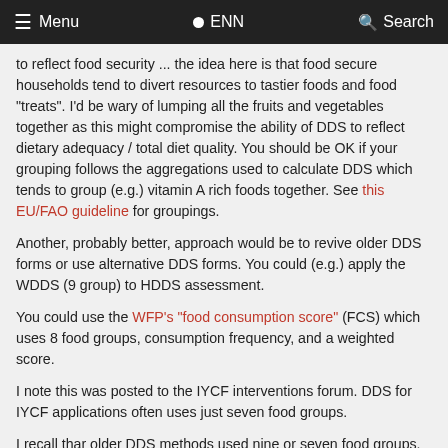Menu  ENN  Search
to reflect food security ... the idea here is that food secure households tend to divert resources to tastier foods and food "treats". I'd be wary of lumping all the fruits and vegetables together as this might compromise the ability of DDS to reflect dietary adequacy / total diet quality. You should be OK if your grouping follows the aggregations used to calculate DDS which tends to group (e.g.) vitamin A rich foods together. See this EU/FAO guideline for groupings.
Another, probably better, approach would be to revive older DDS forms or use alternative DDS forms. You could (e.g.) apply the WDDS (9 group) to HDDS assessment.
You could use the WFP's "food consumption score" (FCS) which uses 8 food groups, consumption frequency, and a weighted score.
I note this was posted to the IYCF interventions forum. DDS for IYCF applications often uses just seven food groups.
I recall thar older DDS methods used nine or seven food groups. Validation work demonstrated that scores with more food groups tend to work better than those with fewer items and this has, I think, driven the design and adoption of indictors based on large numbers of food-groups.
You might find this FIG review useful